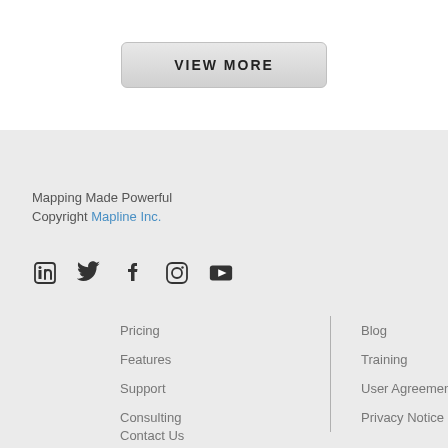VIEW MORE
Mapping Made Powerful
Copyright Mapline Inc.
[Figure (infographic): Social media icons: LinkedIn, Twitter, Facebook, Instagram, YouTube]
Pricing
Features
Support
Consulting
Blog
Training
User Agreement
Privacy Notice
Contact Us
Developers